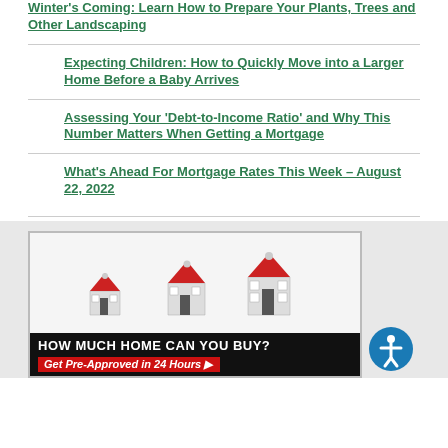Winter's Coming: Learn How to Prepare Your Plants, Trees and Other Landscaping
Expecting Children: How to Quickly Move into a Larger Home Before a Baby Arrives
Assessing Your 'Debt-to-Income Ratio' and Why This Number Matters When Getting a Mortgage
What's Ahead For Mortgage Rates This Week – August 22, 2022
[Figure (photo): Advertisement showing three house icons with text 'HOW MUCH HOME CAN YOU BUY? Get Pre-Approved in 24 Hours' with a red and black banner.]